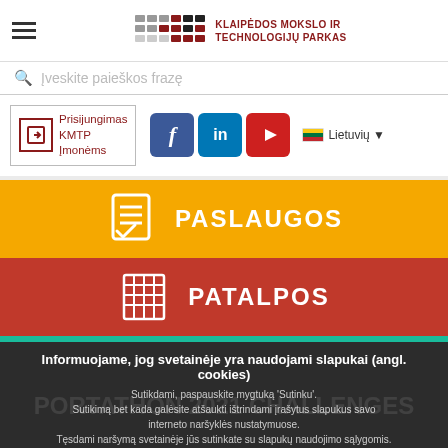KLAIPĖDOS MOKSLO IR TECHNOLOGIJŲ PARKAS
Įveskite paieškos frazę
Prisijungimas KMTP Įmonėms
Lietuvių
[Figure (screenshot): Navigation buttons: PASLAUGOS (yellow) and PATALPOS (red)]
Informuojame, jog svetainėje yra naudojami slapukai (angl. cookies)
Sutikdami, paspauskite mygtuką 'Sutinku'. Sutikimą bet kada galėsite atšaukti ištrindami įrašytus slapukus savo interneto naršyklės nustatymuose. Tęsdami naršymą svetainėje jūs sutinkate su slapukų naudojimo sąlygomis.
Sutinku   Sužinoti daugiau